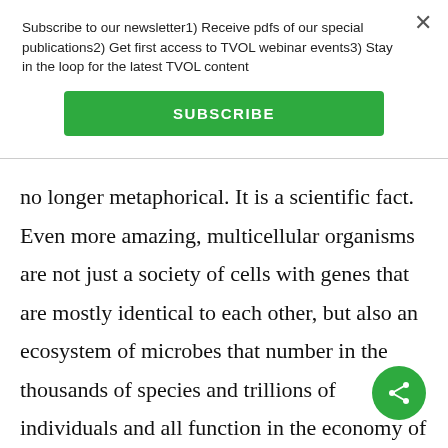Subscribe to our newsletter1) Receive pdfs of our special publications2) Get first access to TVOL webinar events3) Stay in the loop for the latest TVOL content
SUBSCRIBE
no longer metaphorical. It is a scientific fact. Even more amazing, multicellular organisms are not just a society of cells with genes that are mostly identical to each other, but also an ecosystem of microbes that number in the thousands of species and trillions of individuals and all function in the economy of the whole. Of